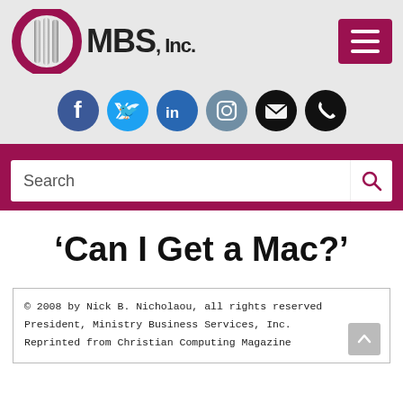[Figure (logo): MBS, Inc. logo with stylized globe/shield icon in silver and crimson, followed by 'MBS, Inc.' text, and a crimson hamburger menu button]
[Figure (infographic): Row of six social media icons: Facebook (blue), Twitter (light blue), LinkedIn (dark blue), Instagram (grey-blue), Email (black), Phone (black)]
[Figure (other): Search bar with white input field reading 'Search' and crimson magnifying glass icon, on crimson background]
‘Can I Get a Mac?’
© 2008 by Nick B. Nicholaou, all rights reserved
President, Ministry Business Services, Inc.
Reprinted from Christian Computing Magazine